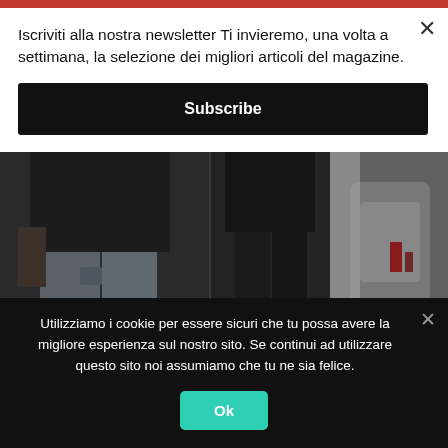Iscriviti alla nostra newsletter Ti invieremo, una volta a settimana, la selezione dei migliori articoli del magazine.
Subscribe
[Figure (photo): Fashion photo showing people wearing streetwear — jeans, dark clothing, near a vehicle, dark moody lighting]
FW 2022 ANTI SOCIAL SOCIAL CLUB COLLECTION
For the Fall Winter Collection 2022 the streetwear brand Anti Social Club
Utilizziamo i cookie per essere sicuri che tu possa avere la migliore esperienza sul nostro sito. Se continui ad utilizzare questo sito noi assumiamo che tu ne sia felice.
Ok